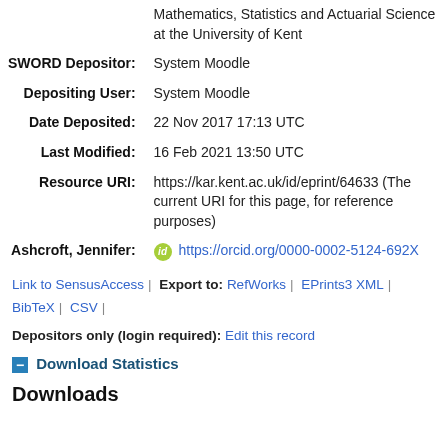| Mathematics, Statistics and Actuarial Science at the University of Kent |  |
| SWORD Depositor: | System Moodle |
| Depositing User: | System Moodle |
| Date Deposited: | 22 Nov 2017 17:13 UTC |
| Last Modified: | 16 Feb 2021 13:50 UTC |
| Resource URI: | https://kar.kent.ac.uk/id/eprint/64633 (The current URI for this page, for reference purposes) |
| Ashcroft, Jennifer: | https://orcid.org/0000-0002-5124-692X |
Link to SensusAccess | Export to: RefWorks | EPrints3 XML | BibTeX | CSV |
Depositors only (login required): Edit this record
— Download Statistics
Downloads